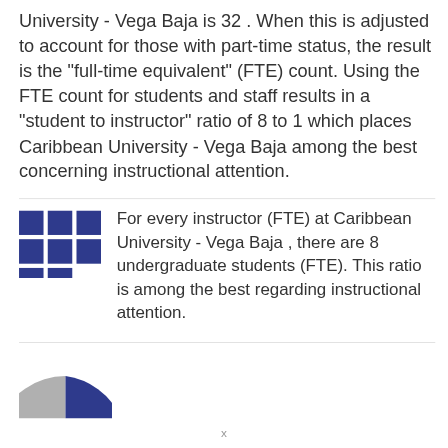University - Vega Baja is 32 . When this is adjusted to account for those with part-time status, the result is the "full-time equivalent" (FTE) count. Using the FTE count for students and staff results in a "student to instructor" ratio of 8 to 1 which places Caribbean University - Vega Baja among the best concerning instructional attention.
[Figure (infographic): 3x3 grid of blue squares (with bottom-right corner square missing) representing student-to-instructor ratio icon]
For every instructor (FTE) at Caribbean University - Vega Baja , there are 8 undergraduate students (FTE). This ratio is among the best regarding instructional attention.
[Figure (pie-chart): Partial pie chart visible at bottom of page, showing a blue slice and a grey slice]
x